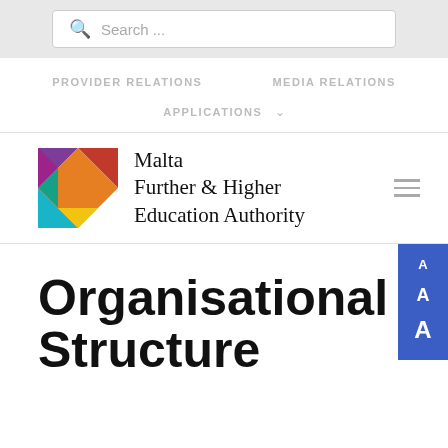Search ...
PROVIDER RELATIONS   MEDIA RELATIONS
APPLICATIONS
[Figure (logo): Malta Further & Higher Education Authority logo — colorful geometric triangles forming a square, with text 'Malta Further & Higher Education Authority' in serif font beside it]
Organisational Structure